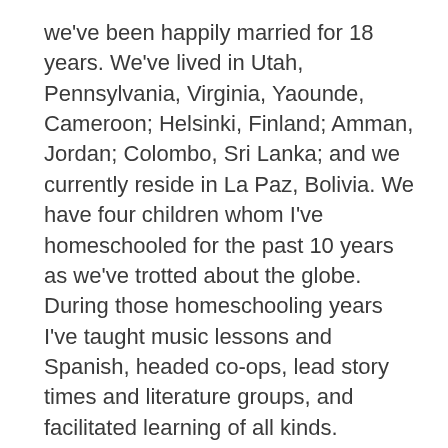we've been happily married for 18 years. We've lived in Utah, Pennsylvania, Virginia, Yaounde, Cameroon; Helsinki, Finland; Amman, Jordan; Colombo, Sri Lanka; and we currently reside in La Paz, Bolivia. We have four children whom I've homeschooled for the past 10 years as we've trotted about the globe. During those homeschooling years I've taught music lessons and Spanish, headed co-ops, lead story times and literature groups, and facilitated learning of all kinds. Teaching, learning, and the arts are my passion. I am currently finishing my Bachelor's Degree in Marriage & Family science with an emphasis in Human Services and Family Counseling, with plans to begin my Master's studies in clinical and arts therapy.